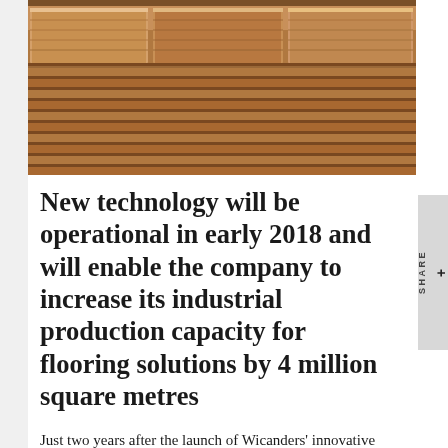[Figure (photo): Stacked cork flooring panels/tiles photographed from above, showing layered brown cork material arranged in rows]
New technology will be operational in early 2018 and will enable the company to increase its industrial production capacity for flooring solutions by 4 million square metres
Just two years after the launch of Wicanders' innovative premium range of Hydrocork flooring solutions, Corticeira Amorim is investing 10 million euros to strengthen its production capacity.
This decision reflects Hydrocork's tremendous